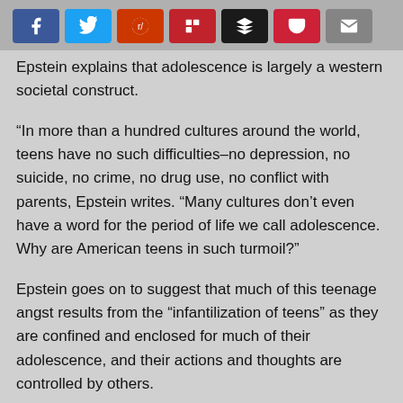[Figure (other): Social share buttons row: Facebook (blue), Twitter (light blue), Reddit (dark orange-red), Flipboard (dark red), Buffer (dark/black), Pocket (dark red), Email (grey)]
Epstein explains that adolescence is largely a western societal construct.
“In more than a hundred cultures around the world, teens have no such difficulties–no depression, no suicide, no crime, no drug use, no conflict with parents, Epstein writes. “Many cultures don’t even have a word for the period of life we call adolescence. Why are American teens in such turmoil?”
Epstein goes on to suggest that much of this teenage angst results from the “infantilization of teens” as they are confined and enclosed for much of their adolescence, and their actions and thoughts are controlled by others.
“Driven by evolutionary imperatives established